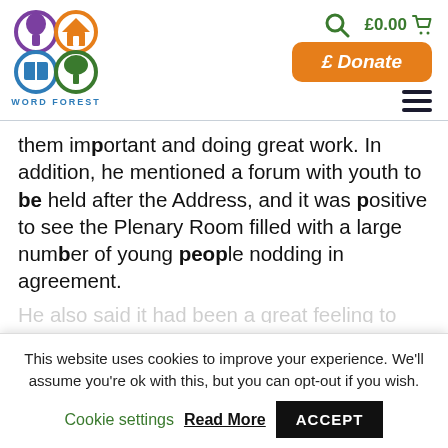[Figure (logo): Word Forest logo with four circular icons (tree, house, book, leaf/tree) in purple, orange, blue, green, with 'WORD FOREST' text below]
£0.00
£ Donate
them important and doing great work. In addition, he mentioned a forum with youth to be held after the Address, and it was positive to see the Plenary Room filled with a large number of young people nodding in agreement.
This website uses cookies to improve your experience. We'll assume you're ok with this, but you can opt-out if you wish.
Cookie settings
Read More
ACCEPT